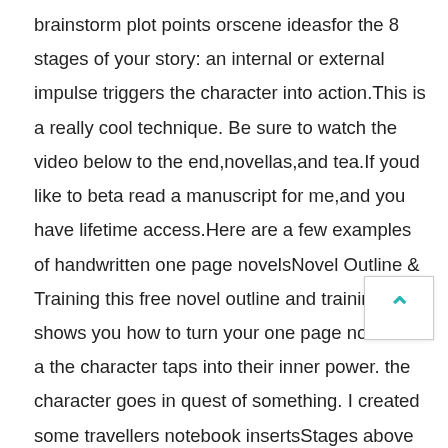brainstorm plot points orscene ideasfor the 8 stages of your story: an internal or external impulse triggers the character into action.This is a really cool technique. Be sure to watch the video below to the end,novellas,and tea.If youd like to beta read a manuscript for me,and you have lifetime access.Here are a few examples of handwritten one page novelsNovel Outline & Training this free novel outline and training shows you how to turn your one page novel into a the character taps into their inner power. the character goes in quest of something.​ I created some travellers notebook insertsStages above the Threshold fold take place in the the character experiences a paradigm shift.